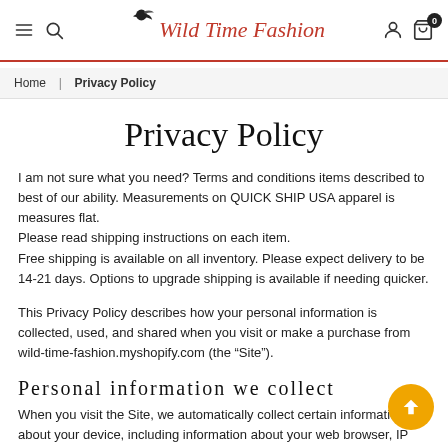Wild Time Fashion — navigation header with menu, search, account, and cart icons
Home | Privacy Policy
Privacy Policy
I am not sure what you need? Terms and conditions items described to best of our ability. Measurements on QUICK SHIP USA apparel is measures flat.
Please read shipping instructions on each item.
Free shipping is available on all inventory. Please expect delivery to be 14-21 days. Options to upgrade shipping is available if needing quicker.
This Privacy Policy describes how your personal information is collected, used, and shared when you visit or make a purchase from wild-time-fashion.myshopify.com (the “Site”).
Personal information we collect
When you visit the Site, we automatically collect certain information about your device, including information about your web browser, IP address,